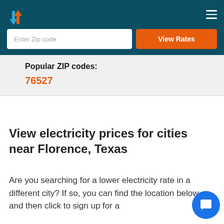Enter Zip code
View Rates
Popular ZIP codes:
76527
View electricity prices for cities near Florence, Texas
Are you searching for a lower electricity rate in a different city? If so, you can find the location below, and then click to sign up for a